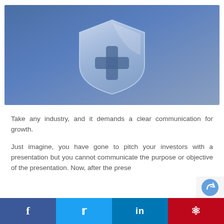[Figure (illustration): Blue gradient background with a glass/translucent shield icon featuring a plus/cross symbol in the center]
Take any industry, and it demands a clear communication for growth.
Just imagine, you have gone to pitch your investors with a presentation but you cannot communicate the purpose or objective of the presentation. Now, after the prese...
[Figure (infographic): Social sharing bar with Facebook, Twitter, LinkedIn, and Pinterest buttons]